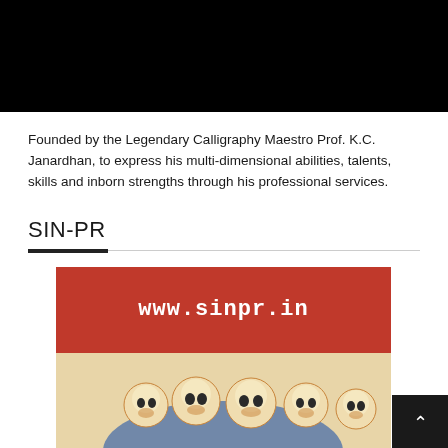[Figure (photo): Black banner image at the top of the page]
Founded by the Legendary Calligraphy Maestro Prof. K.C. Janardhan, to express his multi-dimensional abilities, talents, skills and inborn strengths through his professional services.
SIN-PR
[Figure (screenshot): Red banner with white bold text 'www.sinpr.in' followed by decorative skull figurines image below it, and a back-to-top button (dark square with upward arrow) in the bottom right corner]